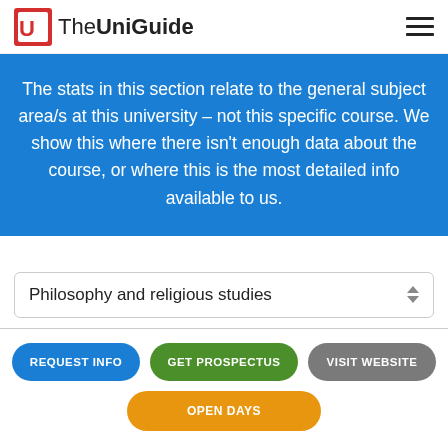TheUniGuide
The stats in this section relate to the general subject area/s at this university – not this specific course. We show this where there isn't enough data about the course, or where this is the most detailed info available to us.
Philosophy and religious studies
REQUEST INFO
GET PROSPECTUS
VISIT WEBSITE
OPEN DAYS